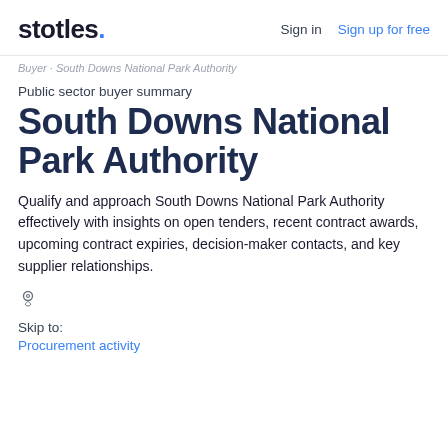stotles. Sign in Sign up for free
Buyer · South Downs National Park Authority
Public sector buyer summary
South Downs National Park Authority
Qualify and approach South Downs National Park Authority effectively with insights on open tenders, recent contract awards, upcoming contract expiries, decision-maker contacts, and key supplier relationships.
Skip to:
Procurement activity